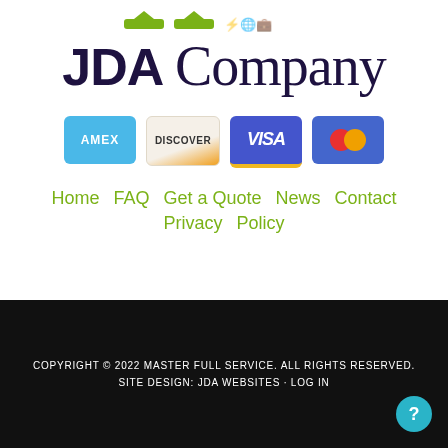[Figure (logo): JDA Company logo with stylized icons at top and handwritten-style 'Company' text]
[Figure (illustration): Payment card icons: AMEX (blue), Discover (beige/orange), VISA (blue/yellow), Mastercard (blue with red/orange circles)]
Home   FAQ   Get a Quote   News   Contact   Privacy Policy
COPYRIGHT © 2022 MASTER FULL SERVICE. ALL RIGHTS RESERVED.
SITE DESIGN: JDA WEBSITES · LOG IN